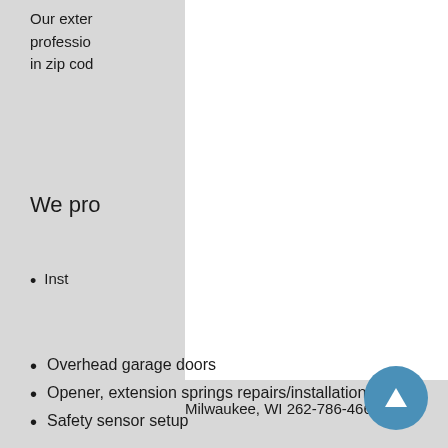Our exter professio in zip cod
We pro
Inst
Milwaukee, WI 262-786-4661
Overhead garage doors
Opener, extension springs repairs/installation
Safety sensor setup